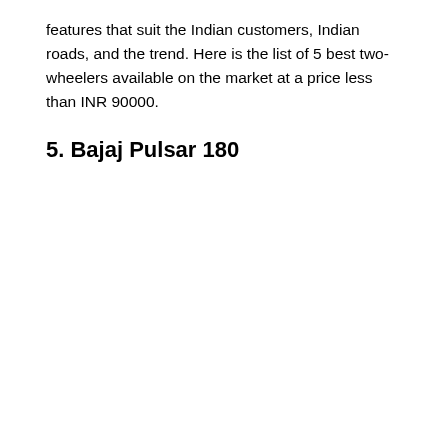features that suit the Indian customers, Indian roads, and the trend. Here is the list of 5 best two-wheelers available on the market at a price less than INR 90000.
5. Bajaj Pulsar 180